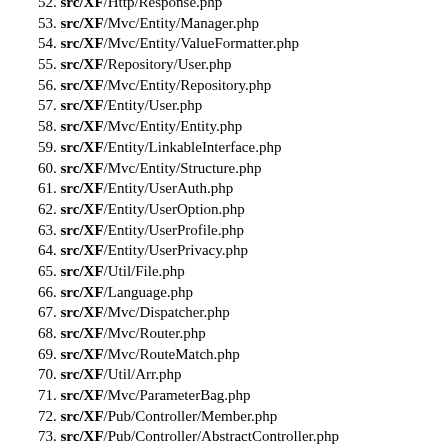52. src/XF/Http/Response.php
53. src/XF/Mvc/Entity/Manager.php
54. src/XF/Mvc/Entity/ValueFormatter.php
55. src/XF/Repository/User.php
56. src/XF/Mvc/Entity/Repository.php
57. src/XF/Entity/User.php
58. src/XF/Mvc/Entity/Entity.php
59. src/XF/Entity/LinkableInterface.php
60. src/XF/Mvc/Entity/Structure.php
61. src/XF/Entity/UserAuth.php
62. src/XF/Entity/UserOption.php
63. src/XF/Entity/UserProfile.php
64. src/XF/Entity/UserPrivacy.php
65. src/XF/Util/File.php
66. src/XF/Language.php
67. src/XF/Mvc/Dispatcher.php
68. src/XF/Mvc/Router.php
69. src/XF/Mvc/RouteMatch.php
70. src/XF/Util/Arr.php
71. src/XF/Mvc/ParameterBag.php
72. src/XF/Pub/Controller/Member.php
73. src/XF/Pub/Controller/AbstractController.php
74. src/XF/Mvc/Controller.php
75. src/XF/Util/Php.php
76. src/XF/PermissionCache.php
77. src/XF/PermissionSet.php